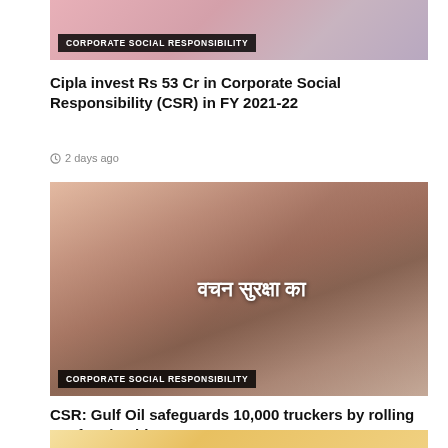[Figure (photo): Photo with 'CORPORATE SOCIAL RESPONSIBILITY' badge at bottom left, partial view of hands/person]
Cipla invest Rs 53 Cr in Corporate Social Responsibility (CSR) in FY 2021-22
2 days ago
[Figure (photo): Photo showing hands tying rakhi with Hindi text 'वचन सुरक्षा का' and 'CORPORATE SOCIAL RESPONSIBILITY' badge at bottom left]
CSR: Gulf Oil safeguards 10,000 truckers by rolling out free healthcare program
3 days ago
[Figure (photo): Partial photo visible at bottom of page]